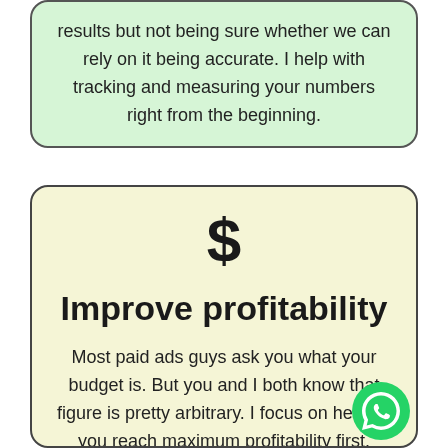results but not being sure whether we can rely on it being accurate. I help with tracking and measuring your numbers right from the beginning.
[Figure (infographic): Dollar sign icon ($) centered in a light yellow rounded box]
Improve profitability
Most paid ads guys ask you what your budget is. But you and I both know that figure is pretty arbitrary. I focus on helping you reach maximum profitability first.
[Figure (logo): WhatsApp logo icon (green circle with phone handset) in bottom right corner]